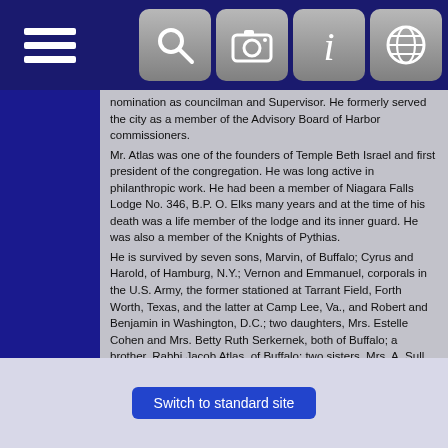[Navigation bar with menu and icons]
nomination as councilman and Supervisor. He formerly served the city as a member of the Advisory Board of Harbor commissioners.
Mr. Atlas was one of the founders of Temple Beth Israel and first president of the congregation. He was long active in philanthropic work. He had been a member of Niagara Falls Lodge No. 346, B.P. O. Elks many years and at the time of his death was a life member of the lodge and its inner guard. He was also a member of the Knights of Pythias.
He is survived by seven sons, Marvin, of Buffalo; Cyrus and Harold, of Hamburg, N.Y.; Vernon and Emmanuel, corporals in the U.S. Army, the former stationed at Tarrant Field, Forth Worth, Texas, and the latter at Camp Lee, Va., and Robert and Benjamin in Washington, D.C.; two daughters, Mrs. Estelle Cohen and Mrs. Betty Ruth Serkernek, both of Buffalo; a brother, Rabbi Jacob Atlas, of Buffalo; two sisters, Mrs. A. Sull, of Buffalo, and Mrs. Dora Shapiro, of this city, and three grandchildren.
Funeral services were held at the Gridley funeral home this afternoon, with Rabbi Simon Shoop and Rabbi Morton J. Cohn officiating. Interment was made in Beth Israel cemetery.
Switch to standard site